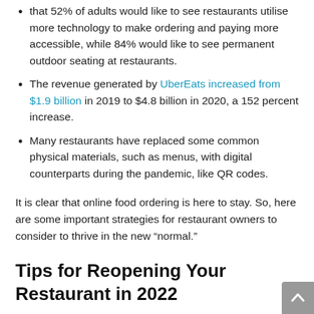that 52% of adults would like to see restaurants utilise more technology to make ordering and paying more accessible, while 84% would like to see permanent outdoor seating at restaurants.
The revenue generated by UberEats increased from $1.9 billion in 2019 to $4.8 billion in 2020, a 152 percent increase.
Many restaurants have replaced some common physical materials, such as menus, with digital counterparts during the pandemic, like QR codes.
It is clear that online food ordering is here to stay. So, here are some important strategies for restaurant owners to consider to thrive in the new “normal.”
Tips for Reopening Your Restaurant in 2022
Maintaining a profitable restaurant has become increasingly difficult over the past two years. As a result of changes in the